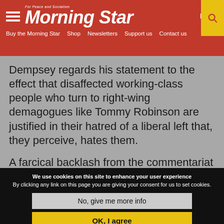Morning Star — For Peace and Socialism
Dempsey regards his statement to the effect that disaffected working-class people who turn to right-wing demagogues like Tommy Robinson are justified in their hatred of a liberal left that, they perceive, hates them.
A farcical backlash from the commentariat has unfolded, with a series of high-profile media
We use cookies on this site to enhance your user experience By clicking any link on this page you are giving your consent for us to set cookies.